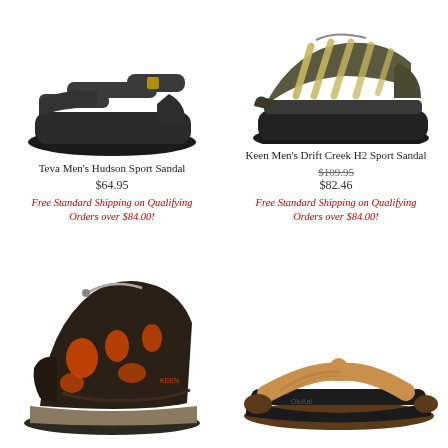[Figure (photo): Teva Men's Hudson Sport Sandal - dark gray/black sport sandal viewed from side]
Teva Men's Hudson Sport Sandal
$64.95
Free Standard Shipping on Qualifying Orders over $84.00!
[Figure (photo): Keen Men's Drift Creek H2 Sport Sandal - olive/tan sport sandal with strappy design viewed from side]
Keen Men's Drift Creek H2 Sport Sandal
$109.95
$82.46
Free Standard Shipping on Qualifying Orders over $84.00!
[Figure (photo): Dark brown and orange hiking sandal/shoe with closed toe, viewed from side]
[Figure (photo): Tan leather flip flop / thong sandal with black footbed, viewed from side]